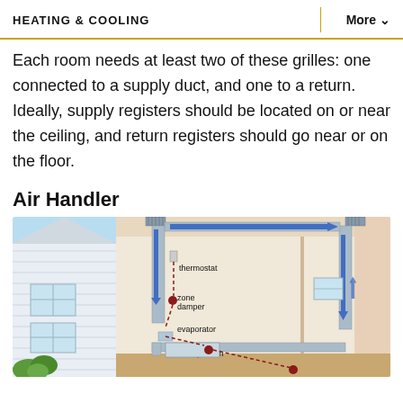HEATING & COOLING | More
Each room needs at least two of these grilles: one connected to a supply duct, and one to a return. Ideally, supply registers should be located on or near the ceiling, and return registers should go near or on the floor.
Air Handler
[Figure (illustration): Cross-section illustration of a house showing an HVAC air handler system with labeled components: thermostat, zone damper, evaporator, and plenum. Blue arrows show airflow through ducts. Red dashed lines show control/signal connections between thermostat, zone damper, evaporator, and plenum.]